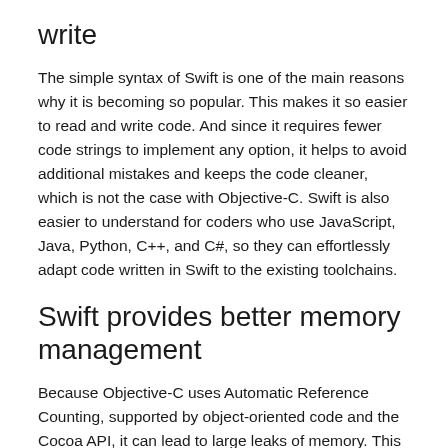write
The simple syntax of Swift is one of the main reasons why it is becoming so popular. This makes it so easier to read and write code. And since it requires fewer code strings to implement any option, it helps to avoid additional mistakes and keeps the code cleaner, which is not the case with Objective-C. Swift is also easier to understand for coders who use JavaScript, Java, Python, C++, and C#, so they can effortlessly adapt code written in Swift to the existing toolchains.
Swift provides better memory management
Because Objective-C uses Automatic Reference Counting, supported by object-oriented code and the Cocoa API, it can lead to large leaks of memory. This problem is resolved by Swift which uses procedural